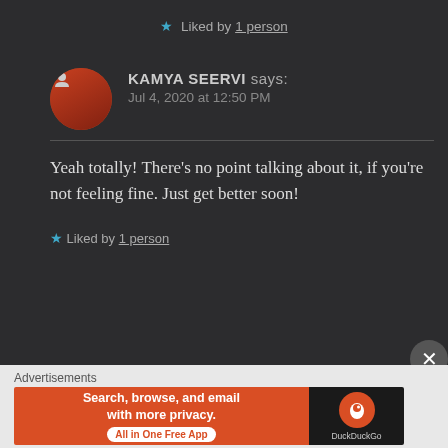★ Liked by 1 person
KAMYA SEERVI says:
Jul 4, 2020 at 12:50 PM
Yeah totally! There's no point talking about it, if you're not feeling fine. Just get better soon!
★ Liked by 1 person
Advertisements
[Figure (screenshot): DuckDuckGo advertisement banner: orange background with text 'Search, browse, and email with more privacy. All in One Free App' and DuckDuckGo logo on dark background]